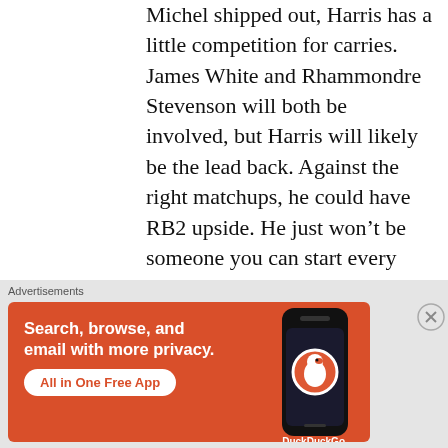Michel shipped out, Harris has a little competition for carries. James White and Rhammondre Stevenson will both be involved, but Harris will likely be the lead back. Against the right matchups, he could have RB2 upside. He just won't be someone you can start every week.
88. Melvin Gordon, RB, DEN
While Javonte Williams is the shiny new toy in Denver's offense, Gordon will still have some say in who controls the
[Figure (infographic): DuckDuckGo advertisement banner: orange background with text 'Search, browse, and email with more privacy. All in One Free App' alongside an illustration of a smartphone showing the DuckDuckGo logo]